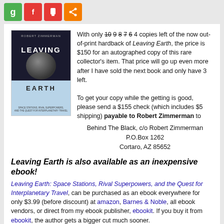[Figure (other): Social share icon buttons: green g, red f, red P, orange share icon]
[Figure (illustration): Book cover of 'Leaving Earth' by Robert Zimmerman]
With only 10 9 8 7 6 4 copies left of the now out-of-print hardback of Leaving Earth, the price is $150 for an autographed copy of this rare collector's item. That price will go up even more after I have sold the next book and only have 3 left.

To get your copy while the getting is good, please send a $155 check (which includes $5 shipping) payable to Robert Zimmerman to

Behind The Black, c/o Robert Zimmerman
P.O.Box 1262
Cortaro, AZ 85652
Leaving Earth is also available as an inexpensive ebook!
Leaving Earth: Space Stations, Rival Superpowers, and the Quest for Interplanetary Travel, can be purchased as an ebook everywhere for only $3.99 (before discount) at amazon, Barnes & Noble, all ebook vendors, or direct from my ebook publisher, ebookit. If you buy it from ebookit, the author gets a bigger cut much sooner.
“Leaving Earth is one of the best and certainly the most comprehensive summary of our drive into space that I have ever read. It will be invaluable to future scholars because it will tell them how the next chapter of human history opened.”
— Arthur C. Clarke
Share
[Figure (other): Social share buttons row at bottom: green, red, pink/red, orange]